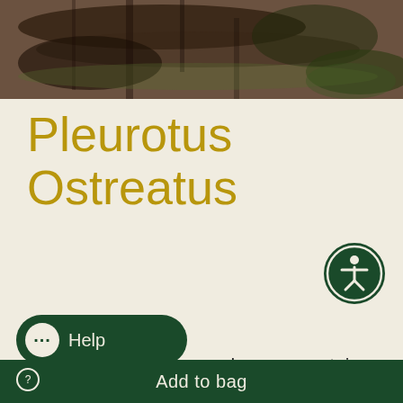[Figure (photo): Close-up photograph of dark tree bark with blurred green forest background]
Pleurotus Ostreatus
Benefits
Pleurotus ostreatus mushrooms contain several substances to influence health.
Add to bag